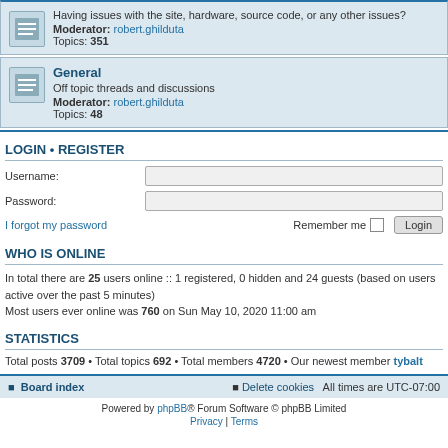Having issues with the site, hardware, source code, or any other issues? Moderator: robert.ghilduta Topics: 351
General
Off topic threads and discussions
Moderator: robert.ghilduta
Topics: 48
LOGIN • REGISTER
Username:
Password:
I forgot my password
Remember me  Login
WHO IS ONLINE
In total there are 25 users online :: 1 registered, 0 hidden and 24 guests (based on users active over the past 5 minutes)
Most users ever online was 760 on Sun May 10, 2020 11:00 am
STATISTICS
Total posts 3709 • Total topics 692 • Total members 4720 • Our newest member tybalt
Board index  Delete cookies  All times are UTC-07:00
Powered by phpBB® Forum Software © phpBB Limited
Privacy | Terms